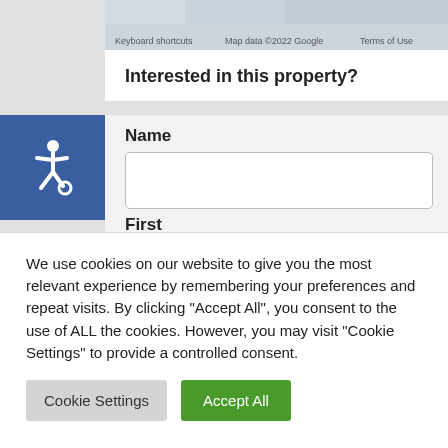Keyboard shortcuts   Map data ©2022 Google   Terms of Use
[Figure (illustration): Accessibility wheelchair icon in white on blue background]
Interested in this property?
Name
First
Last (partially visible)
We use cookies on our website to give you the most relevant experience by remembering your preferences and repeat visits. By clicking "Accept All", you consent to the use of ALL the cookies. However, you may visit "Cookie Settings" to provide a controlled consent.
Cookie Settings
Accept All